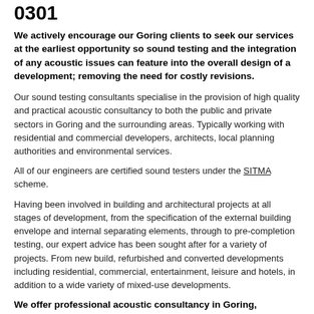0301
We actively encourage our Goring clients to seek our services at the earliest opportunity so sound testing and the integration of any acoustic issues can feature into the overall design of a development; removing the need for costly revisions.
Our sound testing consultants specialise in the provision of high quality and practical acoustic consultancy to both the public and private sectors in Goring and the surrounding areas. Typically working with residential and commercial developers, architects, local planning authorities and environmental services.
All of our engineers are certified sound testers under the SITMA scheme.
Having been involved in building and architectural projects at all stages of development, from the specification of the external building envelope and internal separating elements, through to pre-completion testing, our expert advice has been sought after for a variety of projects. From new build, refurbished and converted developments including residential, commercial, entertainment, leisure and hotels, in addition to a wide variety of mixed-use developments.
We offer professional acoustic consultancy in Goring, involving comprehensive services across all aspects of sound testing, noise measurement, assessment and control.
For a quote or more information, call one of our consultants on 020